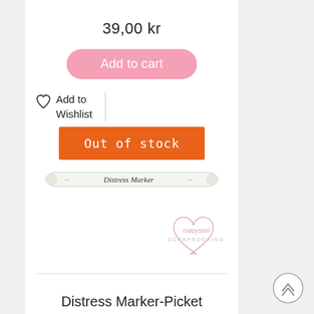39,00 kr
Add to cart
Add to Wishlist
Out of stock
[Figure (photo): A Distress Marker pen (white barrel) with 'Distress Marker' text printed on it]
[Figure (logo): mødpyssel SCRAPBOOKING watermark logo with heart shape]
Distress Marker-Picket Fence
39,00 kr